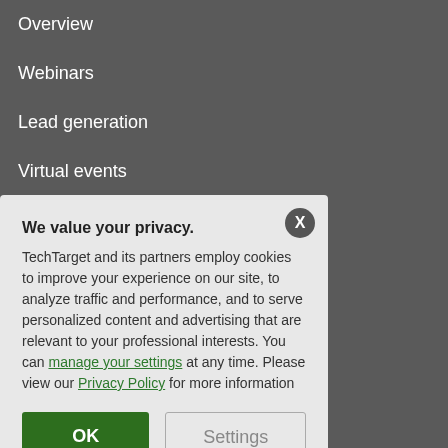Overview
Webinars
Lead generation
Virtual events
R...
We value your privacy. TechTarget and its partners employ cookies to improve your experience on our site, to analyze traffic and performance, and to serve personalized content and advertising that are relevant to your professional interests. You can manage your settings at any time. Please view our Privacy Policy for more information
OK
Settings